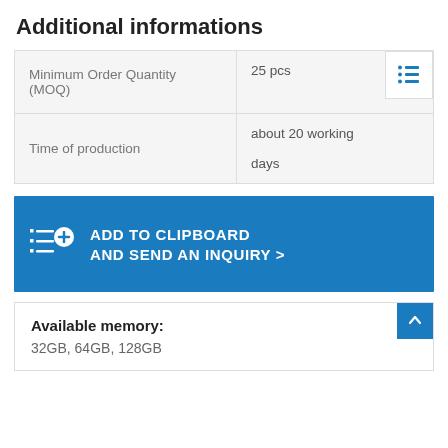Additional informations
|  |  |
| --- | --- |
| Minimum Order Quantity (MOQ) | 25 pcs |
| Time of production | about 20 working days |
ADD TO CLIPBOARD AND SEND AN INQUIRY >
Available memory:
32GB, 64GB, 128GB